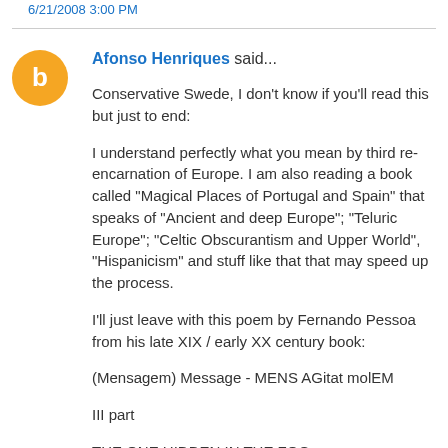6/21/2008 3:00 PM
Afonso Henriques said...
Conservative Swede, I don't know if you'll read this but just to end:

I understand perfectly what you mean by third re-encarnation of Europe. I am also reading a book called "Magical Places of Portugal and Spain" that speaks of "Ancient and deep Europe"; "Teluric Europe"; "Celtic Obscurantism and Upper World", "Hispanicism" and stuff like that that may speed up the process.

I'll just leave with this poem by Fernando Pessoa from his late XIX / early XX century book:

(Mensagem) Message - MENS AGitat molEM

III part

THE ONE HIDDEN IN THE FOG